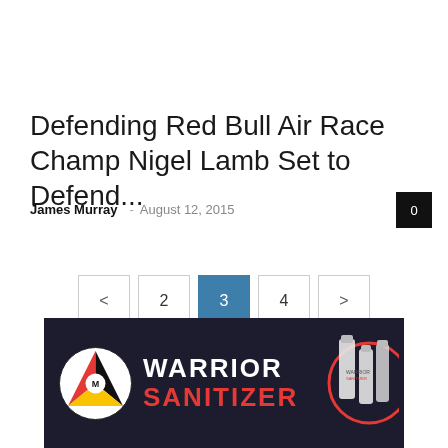Defending Red Bull Air Race Champ Nigel Lamb Set to Defend...
James Murray – August 12, 2015
[Figure (infographic): Pagination control showing < 2 3(active) 4 >]
[Figure (illustration): Warrior Sanitizer advertisement banner with logo and product bottles]